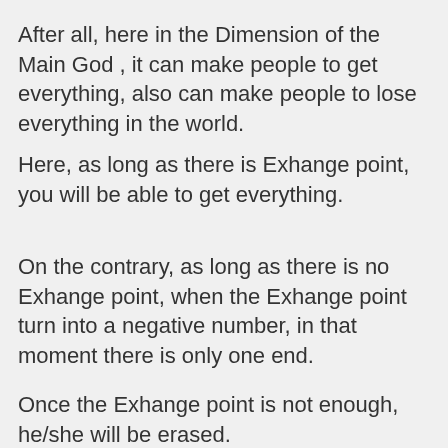After all, here in the Dimension of the Main God , it can make people to get everything, also can make people to lose everything in the world.
Here, as long as there is Exhange point, you will be able to get everything.
On the contrary, as long as there is no Exhange point, when the Exhange point turn into a negative number, in that moment there is only one end.
Once the Exhange point is not enough, he/she will be erased.